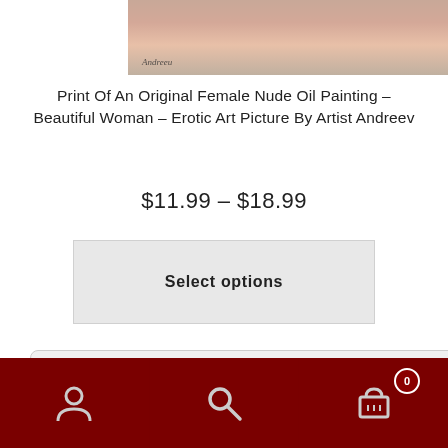[Figure (photo): Partial view of a female nude oil painting by artist Andreev, showing skin tones with a signature in the lower left corner of the image.]
Print Of An Original Female Nude Oil Painting – Beautiful Woman – Erotic Art Picture By Artist Andreev
$11.99 – $18.99
Select options
This website uses cookies to ensure you get the best experience on our website. Learn more